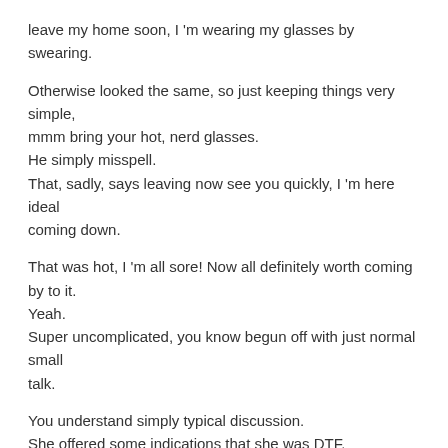leave my home soon, I 'm wearing my glasses by swearing.
Otherwise looked the same, so just keeping things very simple, mmm bring your hot, nerd glasses.
He simply misspell.
That, sadly, says leaving now see you quickly, I 'm here ideal coming down.
That was hot, I 'm all sore! Now all definitely worth coming by to it. Yeah.
Super uncomplicated, you know begun off with just normal small talk.
You understand simply typical discussion.
She offered some indications that she was DTF.
He detected those indications he took advantage of them.
He made the entire thing take place.